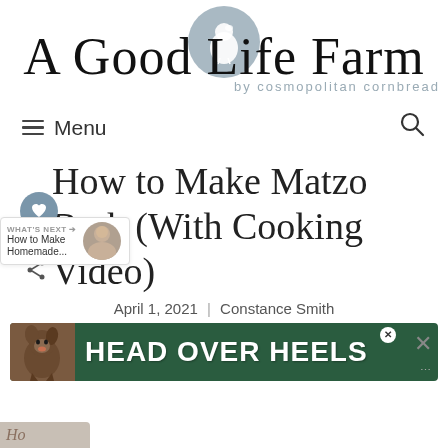[Figure (logo): A Good Life Farm logo with chicken graphic and cursive text, subtitle 'by cosmopolitan cornbread']
≡ Menu | Search
How to Make Matzo Bark (With Cooking Video)
April 1, 2021 | Constance Smith
[Figure (screenshot): Advertisement banner: HEAD OVER HEELS on dark green background with dog image]